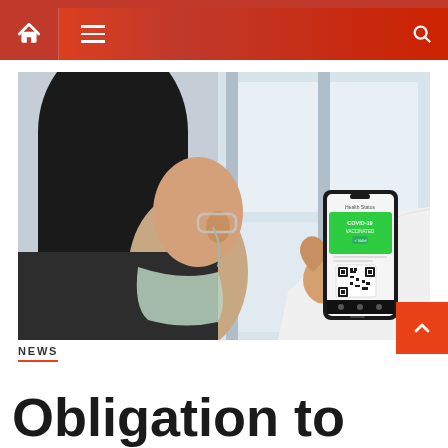Navigation bar with home, menu, and search icons
[Figure (photo): A person wearing a face mask and glasses holding a smartphone displaying a COVID-19 vaccination certificate with a QR code on the screen, viewed from behind in an indoor setting with large windows in the background.]
NEWS
Obligation to